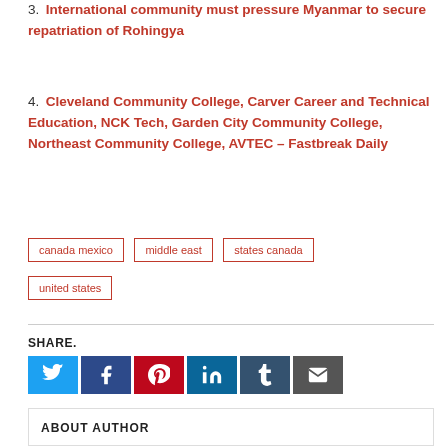3. International community must pressure Myanmar to secure repatriation of Rohingya
4. Cleveland Community College, Carver Career and Technical Education, NCK Tech, Garden City Community College, Northeast Community College, AVTEC – Fastbreak Daily
canada mexico   middle east   states canada   united states
SHARE.
ABOUT AUTHOR